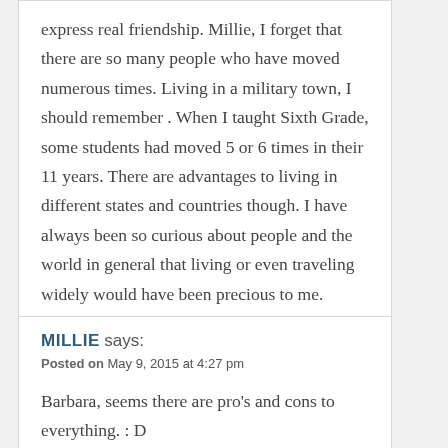express real friendship. Millie, I forget that there are so many people who have moved numerous times. Living in a military town, I should remember . When I taught Sixth Grade, some students had moved 5 or 6 times in their 11 years. There are advantages to living in different states and countries though. I have always been so curious about people and the world in general that living or even traveling widely would have been precious to me.
REPLY
MILLIE says:
Posted on May 9, 2015 at 4:27 pm
Barbara, seems there are pro's and cons to everything. : D